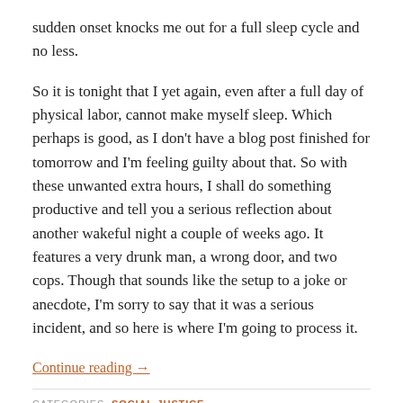sudden onset knocks me out for a full sleep cycle and no less.
So it is tonight that I yet again, even after a full day of physical labor, cannot make myself sleep. Which perhaps is good, as I don’t have a blog post finished for tomorrow and I’m feeling guilty about that. So with these unwanted extra hours, I shall do something productive and tell you a serious reflection about another wakeful night a couple of weeks ago. It features a very drunk man, a wrong door, and two cops. Though that sounds like the setup to a joke or anecdote, I’m sorry to say that it was a serious incident, and so here is where I’m going to process it.
Continue reading →
CATEGORIES  SOCIAL JUSTICE